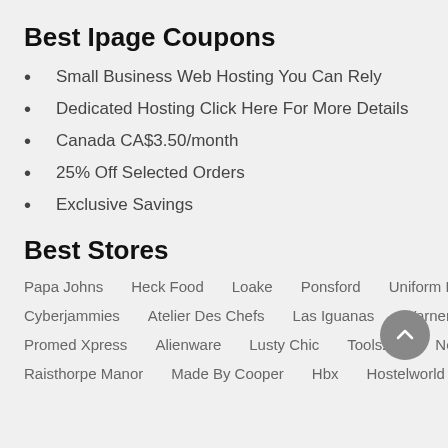Best Ipage Coupons
Small Business Web Hosting You Can Rely
Dedicated Hosting Click Here For More Details
Canada CA$3.50/month
25% Off Selected Orders
Exclusive Savings
Best Stores
Papa Johns   Heck Food   Loake   Ponsford   Uniform Express
Cyberjammies   Atelier Des Chefs   Las Iguanas   Warner Bros World
Promed Xpress   Alienware   Lusty Chic   Tools247   Netpetshop
Raisthorpe Manor   Made By Cooper   Hbx   Hostelworld   Hostgator